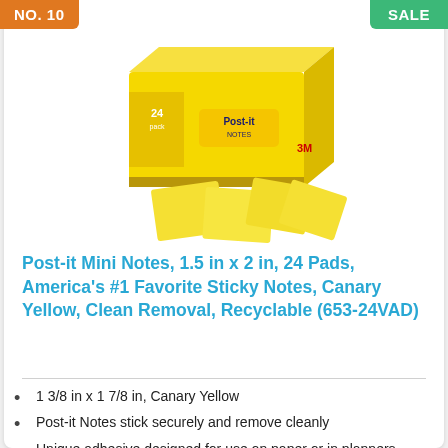NO. 10
SALE
[Figure (photo): Post-it Mini Notes 24-pack in Canary Yellow box with several loose sticky note pads in front]
Post-it Mini Notes, 1.5 in x 2 in, 24 Pads, America's #1 Favorite Sticky Notes, Canary Yellow, Clean Removal, Recyclable (653-24VAD)
1 3/8 in x 1 7/8 in, Canary Yellow
Post-it Notes stick securely and remove cleanly
Unique adhesive designed for use on paper or in planners
America's #1 favorite sticky note